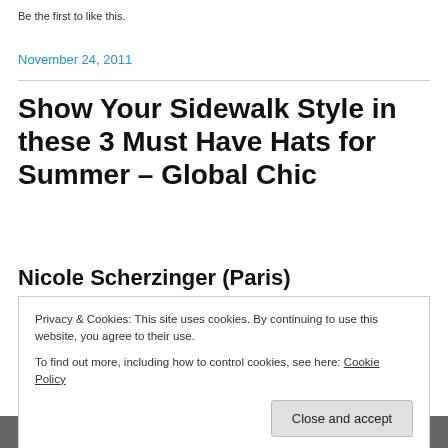Be the first to like this.
November 24, 2011
Show Your Sidewalk Style in these 3 Must Have Hats for Summer – Global Chic
Nicole Scherzinger (Paris)
Privacy & Cookies: This site uses cookies. By continuing to use this website, you agree to their use.
To find out more, including how to control cookies, see here: Cookie Policy
[Figure (photo): Photo strip at bottom of page showing people wearing hats]